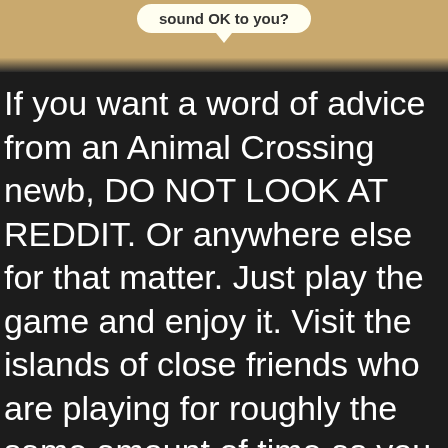[Figure (screenshot): Top portion showing a speech bubble with text 'sound OK to you?' on a tan/sandy colored background]
If you want a word of advice from an Animal Crossing newb, DO NOT LOOK AT REDDIT. Or anywhere else for that matter. Just play the game and enjoy it. Visit the islands of close friends who are playing for roughly the same amount of time as you, or you may feel perpetually behind. If you're anything like me, you will feel like you just